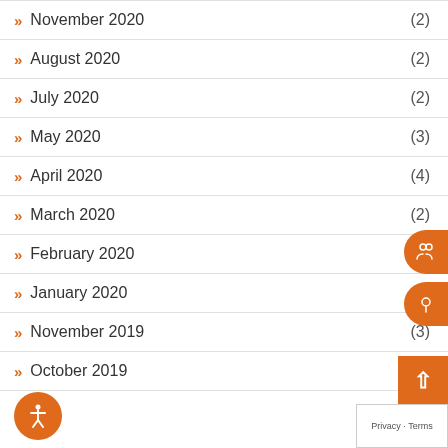November 2020 (2)
August 2020 (2)
July 2020 (2)
May 2020 (3)
April 2020 (4)
March 2020 (2)
February 2020 (3)
January 2020 (6)
November 2019 (3)
October 2019 (2)